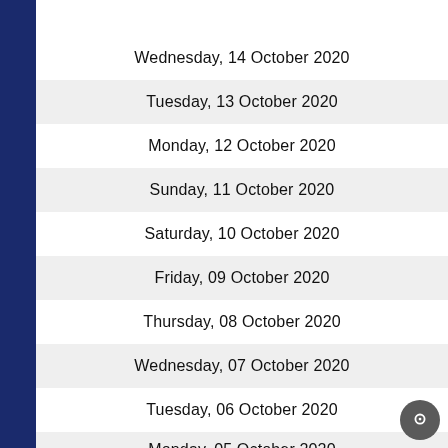Wednesday, 14 October 2020
Tuesday, 13 October 2020
Monday, 12 October 2020
Sunday, 11 October 2020
Saturday, 10 October 2020
Friday, 09 October 2020
Thursday, 08 October 2020
Wednesday, 07 October 2020
Tuesday, 06 October 2020
Monday, 05 October 2020